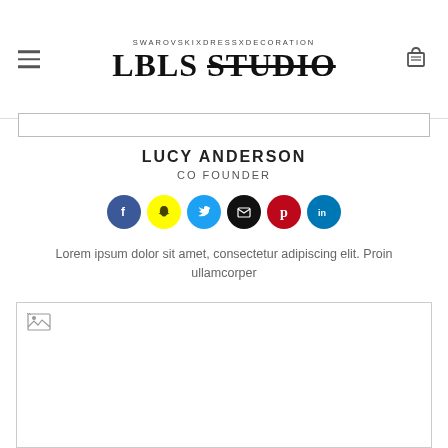SWAROVSKIXDRESSXDECORATION LBLS STUDIO
LUCY ANDERSON
CO FOUNDER
[Figure (infographic): Six social media icon circles: Facebook (dark blue), Snapchat (yellow), Twitter (blue), Email (black), Pinterest (red), LinkedIn (blue)]
Lorem ipsum dolor sit amet, consectetur adipiscing elit. Proin ullamcorper
[Figure (photo): Broken/missing image placeholder with broken image icon in top-left corner]